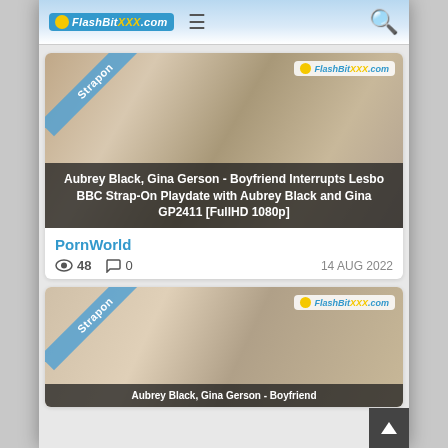FlashBitXXX.com
[Figure (screenshot): Thumbnail image for adult video: Aubrey Black, Gina Gerson with 'Strapon' ribbon and FlashBitXXX.com watermark]
Aubrey Black, Gina Gerson - Boyfriend Interrupts Lesbo BBC Strap-On Playdate with Aubrey Black and Gina GP2411 [FullHD 1080p]
PornWorld
48  0  14 AUG 2022
[Figure (screenshot): Second thumbnail image for adult video: Aubrey Black, Gina Gerson with 'Strapon' ribbon and FlashBitXXX.com watermark]
Aubrey Black, Gina Gerson - Boyfriend